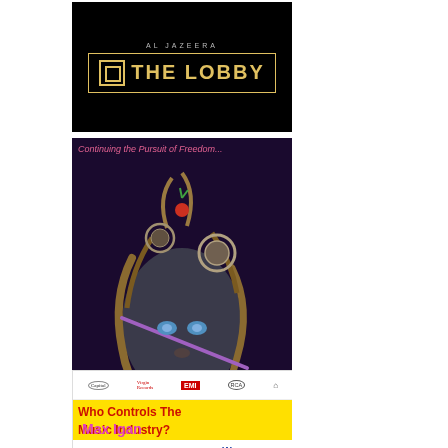[Figure (illustration): Al Jazeera 'The Lobby' logo on black background with gold border and bracket icon]
[Figure (illustration): Max Igan album art 'Continuing the Pursuit of Freedom...' showing a surreal mechanical face with tentacles and gears on dark background, artist name 'Max Igan' in pink text at bottom left]
[Figure (illustration): Infographic showing record label logos (Capitol, Virgin, EMI, RCA, Universal, Warner, Decca, Geffen) with yellow band text 'Who Controls The Music Industry?']